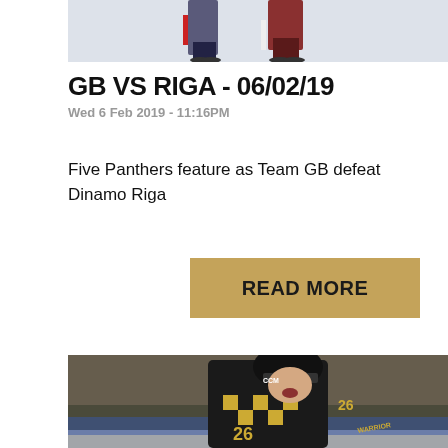[Figure (photo): Ice hockey players on ice, partial view showing legs and skates, players in different team uniforms]
GB VS RIGA - 06/02/19
Wed 6 Feb 2019 - 11:16PM
Five Panthers feature as Team GB defeat Dinamo Riga
[Figure (other): READ MORE button]
[Figure (photo): Ice hockey player wearing black and gold checkered jersey number 26, CCM helmet, on ice]